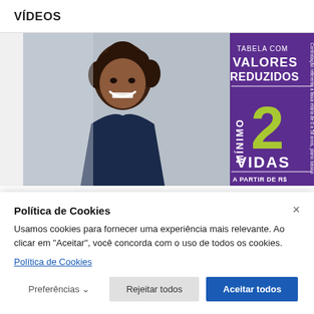VÍDEOS
[Figure (photo): Insurance advertisement showing a smiling woman on the left and a purple panel on the right with text: TABELA COM VALORES REDUZIDOS MÍNIMO 2 VIDAS A PARTIR DE R$]
Política de Cookies
Usamos cookies para fornecer uma experiência mais relevante. Ao clicar em "Aceitar", você concorda com o uso de todos os cookies.
Política de Cookies
Preferências
Rejeitar todos
Aceitar todos